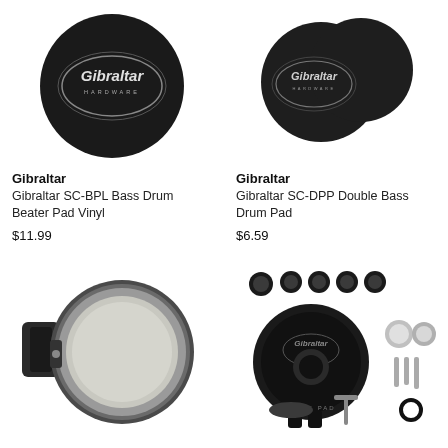[Figure (photo): Black circular bass drum beater pad with Gibraltar Hardware oval logo in white on dark fabric surface]
Gibraltar
Gibraltar SC-BPL Bass Drum Beater Pad Vinyl
$11.99
[Figure (photo): Two black circular bass drum pads with Gibraltar Hardware oval logo, overlapping each other]
Gibraltar
Gibraltar SC-DPP Double Bass Drum Pad
$6.59
[Figure (photo): Practice drum pad with black strap/wristband, gray metallic rim and light gray drumhead surface]
[Figure (photo): Gibraltar Click Pad bass drum beater accessory kit with multiple felt pieces, rubber pieces, bolts, and components spread out]